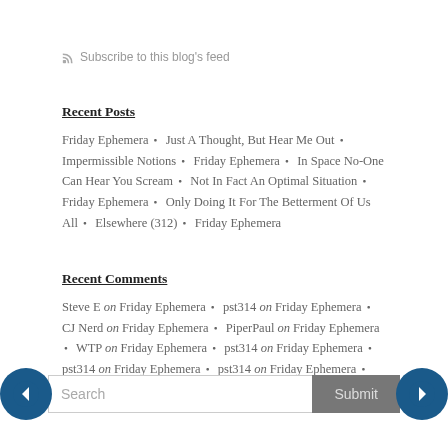Subscribe to this blog's feed
Recent Posts
Friday Ephemera • Just A Thought, But Hear Me Out • Impermissible Notions • Friday Ephemera • In Space No-One Can Hear You Scream • Not In Fact An Optimal Situation • Friday Ephemera • Only Doing It For The Betterment Of Us All • Elsewhere (312) • Friday Ephemera
Recent Comments
Steve E on Friday Ephemera • pst314 on Friday Ephemera • CJ Nerd on Friday Ephemera • PiperPaul on Friday Ephemera • WTP on Friday Ephemera • pst314 on Friday Ephemera • pst314 on Friday Ephemera • pst314 on Friday Ephemera • WTP on Friday Ephemera